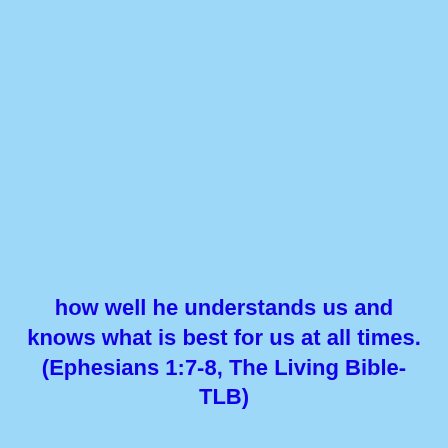how well he understands us and knows what is best for us at all times. (Ephesians 1:7-8, The Living Bible-TLB)